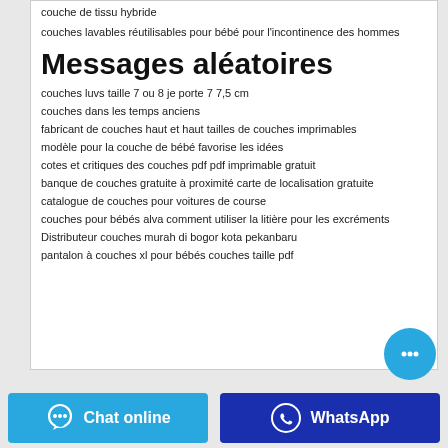couche de tissu hybride
couches lavables réutilisables pour bébé pour l'incontinence des hommes
Messages aléatoires
couches luvs taille 7 ou 8 je porte 7 7,5 cm
couches dans les temps anciens
fabricant de couches haut et haut tailles de couches imprimables
modèle pour la couche de bébé favorise les idées
cotes et critiques des couches pdf pdf imprimable gratuit
banque de couches gratuite à proximité carte de localisation gratuite
catalogue de couches pour voitures de course
couches pour bébés alva comment utiliser la litière pour les excréments
Distributeur couches murah di bogor kota pekanbaru
pantalon à couches xl pour bébés couches taille pdf